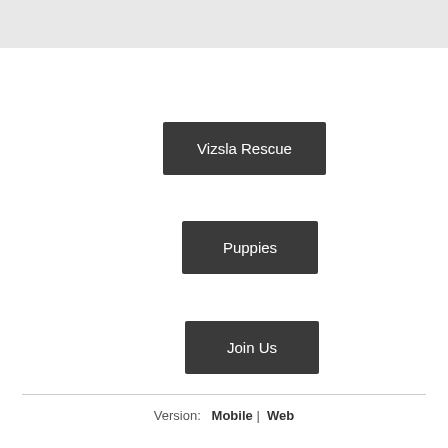[Figure (screenshot): Gray header bar at top of page]
Vizsla Rescue
Puppies
Join Us
Version:   Mobile  |  Web